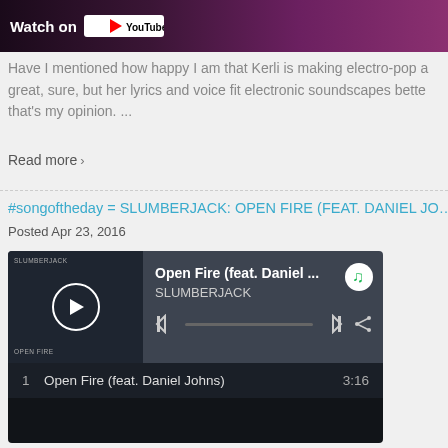[Figure (screenshot): YouTube thumbnail showing 'Watch on YouTube' button with dark purple/maroon background]
Have I mentioned how happy I am that Kerli is making electro-pop a great, sure, but her lyrics and voice fit electronic soundscapes bette that's my opinion. ...
Read more ›
#songoftheday = SLUMBERJACK: OPEN FIRE (FEAT. DANIEL JO…
Posted Apr 23, 2016
[Figure (screenshot): Spotify embedded player showing 'Open Fire (feat. Daniel ...) by SLUMBERJACK' with tracklist showing '1  Open Fire (feat. Daniel Johns)  3:16']